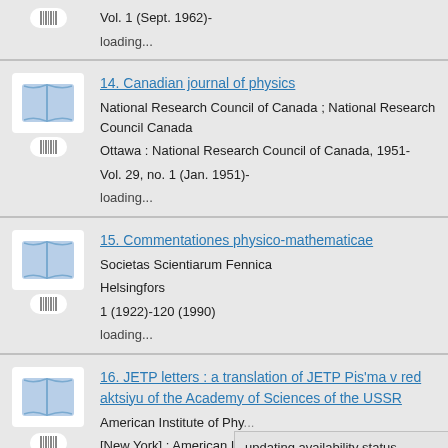Vol. 1 (Sept. 1962)-
loading...
14. Canadian journal of physics
National Research Council of Canada ; National Research Council Canada
Ottawa : National Research Council of Canada, 1951-
Vol. 29, no. 1 (Jan. 1951)-
loading...
15. Commentationes physico-mathematicae
Societas Scientiarum Fennica
Helsingfors
1 (1922)-120 (1990)
loading...
16. JETP letters : a translation of JETP Pis'ma v redaktsiyu of the Academy of Sciences of the USSR
American Institute of Phy...
[New York] : American In...
updating availability status information...